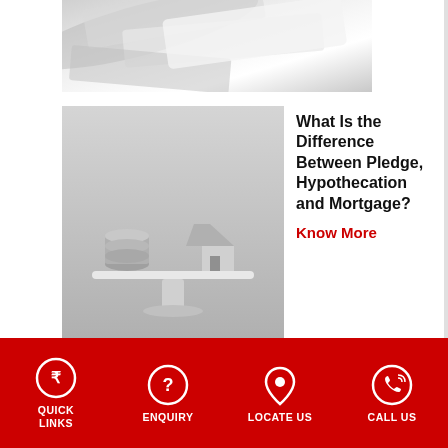[Figure (photo): Partial top image showing blurred documents/papers in black and white]
[Figure (photo): Black and white image of a balance scale with coins on one side and a small house model on the other]
What Is the Difference Between Pledge, Hypothecation and Mortgage?
Know More
[Figure (photo): Black background image with a Ganesha statue figurine]
5 Wonderful Gift Ideas for this Ganesh Chaturthi
Know More
QUICK LINKS  ENQUIRY  LOCATE US  CALL US